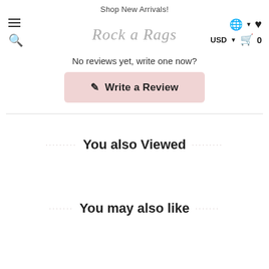Shop New Arrivals!
[Figure (screenshot): Navigation bar with hamburger menu, search icon on left; Rock a Rags cursive logo in center; globe icon with caret, heart icon, USD with caret, and cart with 0 on right]
No reviews yet, write one now?
✏ Write a Review
You also Viewed
You may also like